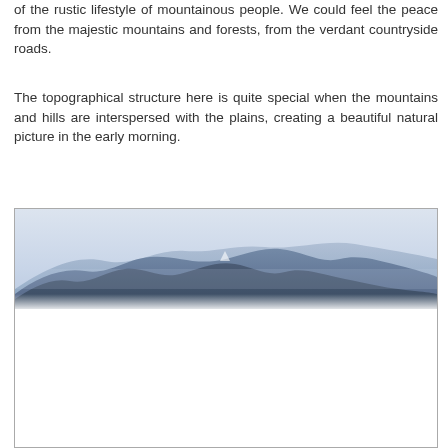of the rustic lifestyle of mountainous people. We could feel the peace from the majestic mountains and forests, from the verdant countryside roads.
The topographical structure here is quite special when the mountains and hills are interspersed with the plains, creating a beautiful natural picture in the early morning.
[Figure (photo): A misty mountain landscape photograph showing layered mountain silhouettes in blue-grey tones with light mist/fog, upper portion shows the mountain ridgeline against a pale sky, lower portion is mostly white/blank.]